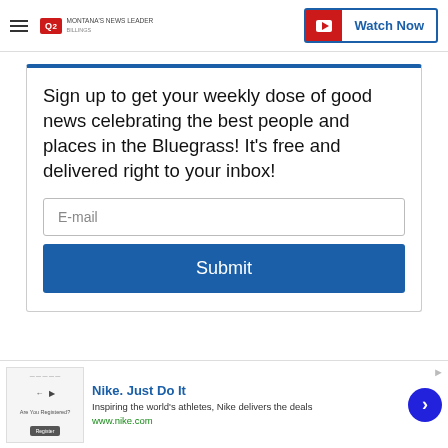Q2 MONTANA'S NEWS LEADER | Watch Now
Sign up to get your weekly dose of good news celebrating the best people and places in the Bluegrass! It's free and delivered right to your inbox!
E-mail
Submit
[Figure (screenshot): Advertisement banner: Nike. Just Do It — Inspiring the world's athletes, Nike delivers the deals. www.nike.com]